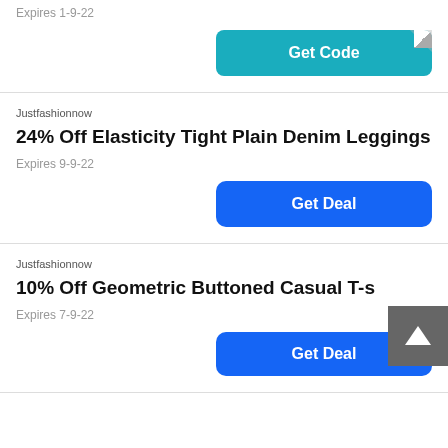Expires 1-9-22
[Figure (other): Teal 'Get Code' button with folded corner]
Justfashionnow
24% Off Elasticity Tight Plain Denim Leggings
Expires 9-9-22
[Figure (other): Blue 'Get Deal' button]
Justfashionnow
10% Off Geometric Buttoned Casual T-s
Expires 7-9-22
[Figure (other): Blue 'Get Deal' button]
[Figure (other): Grey back-to-top arrow button]